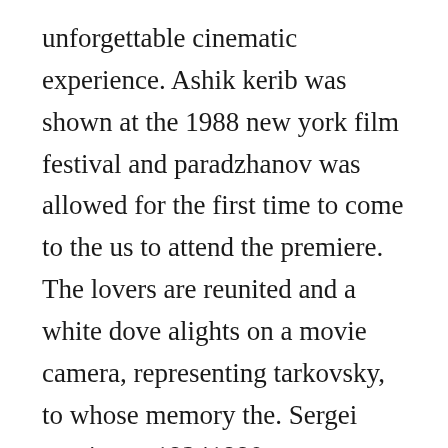unforgettable cinematic experience. Ashik kerib was shown at the 1988 new york film festival and paradzhanov was allowed for the first time to come to the us to attend the premiere. The lovers are reunited and a white dove alights on a movie camera, representing tarkovsky, to whose memory the. Sergei parajanov 19241990 was a transcaucasian soviet film director. Paradjanov is far from a complete compendium of all the major events in the directors life. Based on a story by russian author mikhail lermontov, ashik kerib has the texture of an ancient, ofttold tale